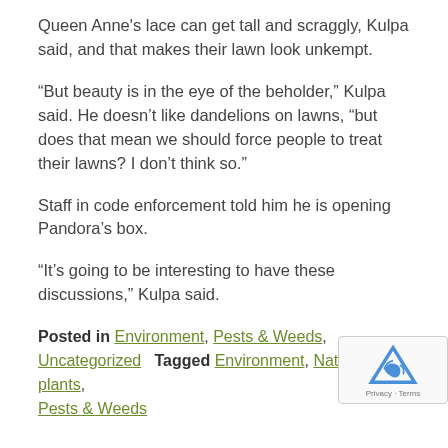Queen Anne's lace can get tall and scraggly, Kulpa said, and that makes their lawn look unkempt.
“But beauty is in the eye of the beholder,” Kulpa said. He doesn’t like dandelions on lawns, “but does that mean we should force people to treat their lawns? I don’t think so.”
Staff in code enforcement told him he is opening Pandora’s box.
“It’s going to be interesting to have these discussions,” Kulpa said.
Posted in Environment, Pests & Weeds, Uncategorized   Tagged Environment, Native plants, Pests & Weeds
< 1-minute task now will help you identify perennials in spring
New crop: homegrown flower arrangements at Mischler's